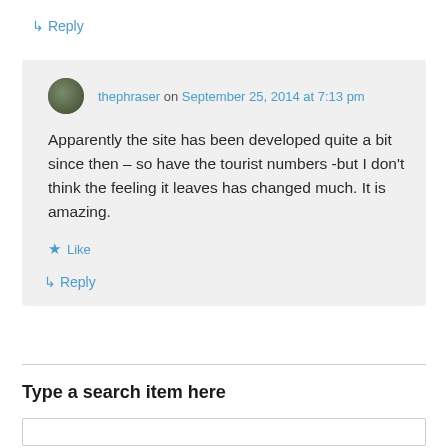↳ Reply
thephraser on September 25, 2014 at 7:13 pm
Apparently the site has been developed quite a bit since then – so have the tourist numbers -but I don't think the feeling it leaves has changed much. It is amazing.
★ Like
↳ Reply
Type a search item here